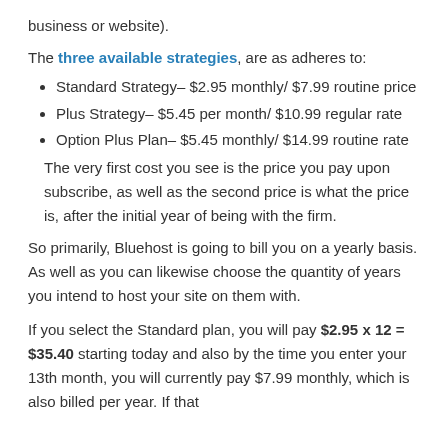business or website).
The three available strategies, are as adheres to:
Standard Strategy– $2.95 monthly/ $7.99 routine price
Plus Strategy– $5.45 per month/ $10.99 regular rate
Option Plus Plan– $5.45 monthly/ $14.99 routine rate
The very first cost you see is the price you pay upon subscribe, as well as the second price is what the price is, after the initial year of being with the firm.
So primarily, Bluehost is going to bill you on a yearly basis. As well as you can likewise choose the quantity of years you intend to host your site on them with.
If you select the Standard plan, you will pay $2.95 x 12 = $35.40 starting today and also by the time you enter your 13th month, you will currently pay $7.99 monthly, which is also billed per year. If that